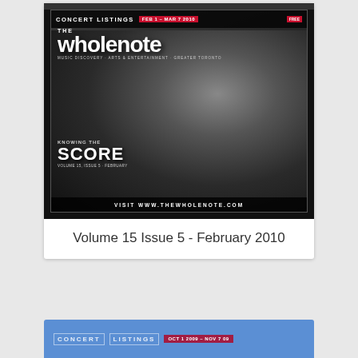[Figure (photo): Magazine cover of 'The Whole Note' Volume 15 Issue 5, February 2010, showing a conductor energetically conducting an orchestra. The cover includes 'Concert Listings Feb 1 - Mar 7 2010' header bar, 'The Whole Note' masthead logo, 'Knowing the Score' text overlay, and 'Visit www.thewholenote.com' footer bar.]
Volume 15 Issue 5 - February 2010
[Figure (photo): Partial view of another magazine cover with blue background showing 'Concert Listings' header with a date badge, partially cropped at bottom of page.]